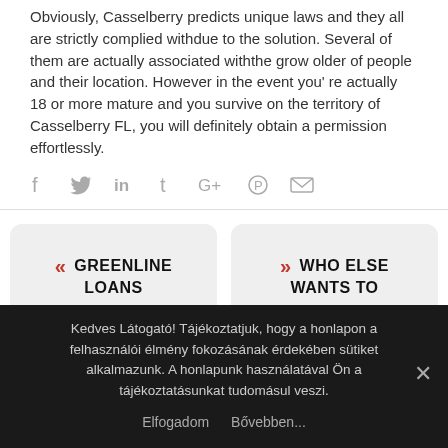Obviously, Casselberry predicts unique laws and they all are strictly complied withdue to the solution. Several of them are actually associated withthe grow older of people and their location. However in the event you're actually 18 or more mature and you survive on the territory of Casselberry FL, you will definitely obtain a permission effortlessly.
[Figure (infographic): Social media sharing icons: Facebook (f), Twitter (bird), LinkedIn (in), Tumblr (t), Google+ (G+), Pinterest (circle with P), Email (envelope)]
« GREENLINE LOANS
» WHO ELSE WANTS TO
Kedves Látogató! Tájékoztatjuk, hogy a honlapon a felhasználói élmény fokozásának érdekében sütiket alkalmazunk. A honlapunk használatával Ön a tájékoztatásunkat tudomásul veszi.
Elfogadom   Bővebben...